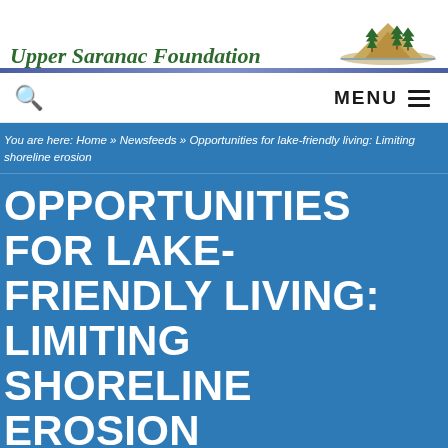[Figure (logo): Upper Saranac Foundation logo with italic green serif text and a mountain/pine tree illustration]
MENU ☰
You are here: Home » Newsfeeds » Opportunities for lake-friendly living: Limiting shoreline erosion
OPPORTUNITIES FOR LAKE-FRIENDLY LIVING: LIMITING SHORELINE EROSION
August 19, 2019 by guvm